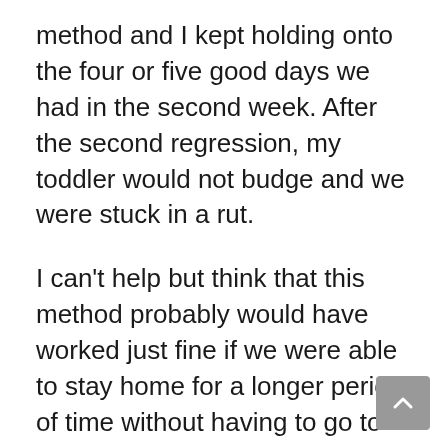method and I kept holding onto the four or five good days we had in the second week. After the second regression, my toddler would not budge and we were stuck in a rut.
I can't help but think that this method probably would have worked just fine if we were able to stay home for a longer period of time without having to go to daycare. Also, I wonder if she would have been able to withstand the regressions if she was a little older or had more of a potty training foundation.
We quit the Oh Crap Potty Training method and are taking the slow and gradual approach with daycare taking the lead. This will involve wearing Pull-ups and getting rewards for her efforts, even if that's just sitting on the potty.